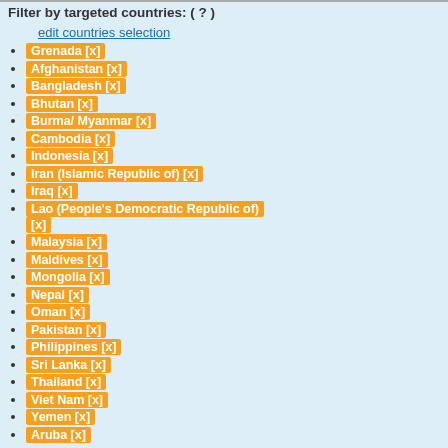Filter by targeted countries: ( ? )
edit countries selection
Grenada [x]
Afghanistan [x]
Bangladesh [x]
Bhutan [x]
Burma/ Myanmar [x]
Cambodia [x]
Indonesia [x]
Iran (Islamic Republic of) [x]
Iraq [x]
Lao (People's Democratic Republic of) [x]
Malaysia [x]
Maldives [x]
Mongolia [x]
Nepal [x]
Oman [x]
Pakistan [x]
Philippines [x]
Sri Lanka [x]
Thailand [x]
Viet Nam [x]
Yemen [x]
Aruba [x]
Logical operator: AND OR
reset countries selection